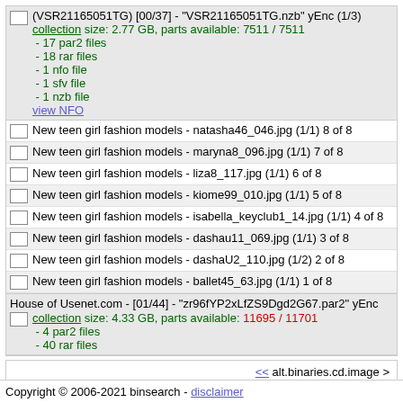(VSR21165051TG) [00/37] - "VSR21165051TG.nzb" yEnc (1/3)
collection size: 2.77 GB, parts available: 7511 / 7511
- 17 par2 files
- 18 rar files
- 1 nfo file
- 1 sfv file
- 1 nzb file
view NFO
New teen girl fashion models - natasha46_046.jpg (1/1) 8 of 8
New teen girl fashion models - maryna8_096.jpg (1/1) 7 of 8
New teen girl fashion models - liza8_117.jpg (1/1) 6 of 8
New teen girl fashion models - kiome99_010.jpg (1/1) 5 of 8
New teen girl fashion models - isabella_keyclub1_14.jpg (1/1) 4 of 8
New teen girl fashion models - dashau11_069.jpg (1/1) 3 of 8
New teen girl fashion models - dashaU2_110.jpg (1/2) 2 of 8
New teen girl fashion models - ballet45_63.jpg (1/1) 1 of 8
House of Usenet.com - [01/44] - "zr96fYP2xLfZS9Dgd2G67.par2" yEnc
collection size: 4.33 GB, parts available: 11695 / 11701
- 4 par2 files
- 40 rar files
<< alt.binaries.cd.image >
Create NZB
Copyright © 2006-2021 binsearch - disclaimer